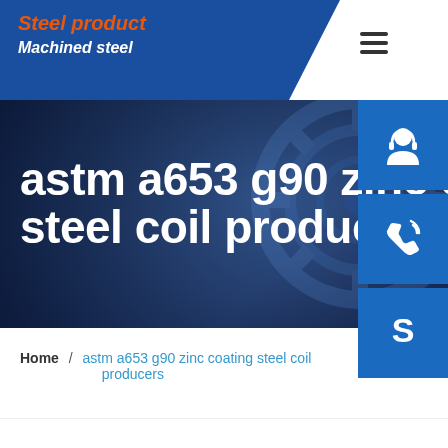Steel product / Machined steel
astm a653 g90 zinc coating steel coil producers
Home / astm a653 g90 zinc coating steel coil producers